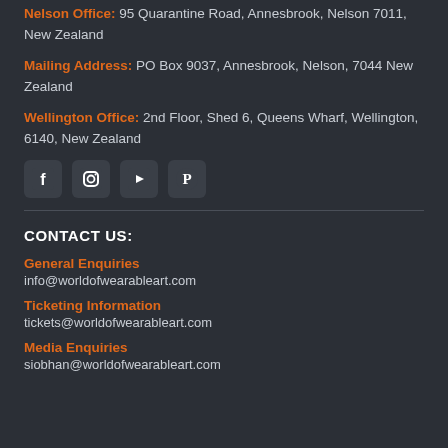Nelson Office: 95 Quarantine Road, Annesbrook, Nelson 7011, New Zealand
Mailing Address: PO Box 9037, Annesbrook, Nelson, 7044 New Zealand
Wellington Office: 2nd Floor, Shed 6, Queens Wharf, Wellington, 6140, New Zealand
[Figure (infographic): Four social media icons: Facebook, Instagram, YouTube, Pinterest]
CONTACT US:
General Enquiries
info@worldofwearableart.com
Ticketing Information
tickets@worldofwearableart.com
Media Enquiries
siobhan@worldofwearableart.com